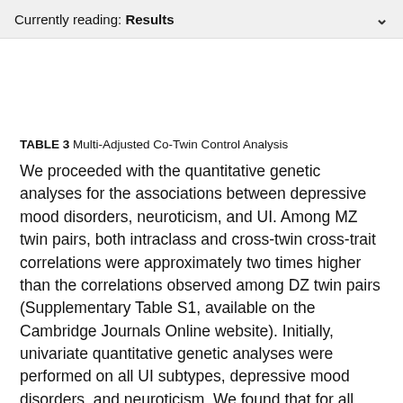Currently reading: Results
TABLE 3 Multi-Adjusted Co-Twin Control Analysis
We proceeded with the quantitative genetic analyses for the associations between depressive mood disorders, neuroticism, and UI. Among MZ twin pairs, both intraclass and cross-twin cross-trait correlations were approximately two times higher than the correlations observed among DZ twin pairs (Supplementary Table S1, available on the Cambridge Journals Online website). Initially, univariate quantitative genetic analyses were performed on all UI subtypes, depressive mood disorders, and neuroticism. We found that for all these analyses the AE model...